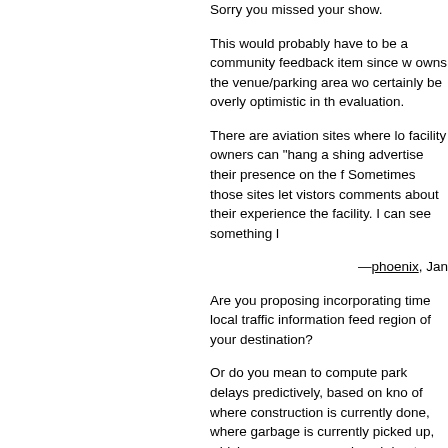Sorry you missed your show.
This would probably have to be a community feedback item since w owns the venue/parking area wo certainly be overly optimistic in th evaluation.
There are aviation sites where lo facility owners can "hang a shing advertise their presence on the f Sometimes those sites let vistors comments about their experience the facility. I can see something l
—phoenix, Jan
Are you proposing incorporating time local traffic information feed region of your destination?
Or do you mean to compute park delays predictively, based on kno of where construction is currently done, where garbage is currently picked up, which avenues are cu closed due to street festivals, ho spots are legal for this time of da whether a 1-hour meter is suffici